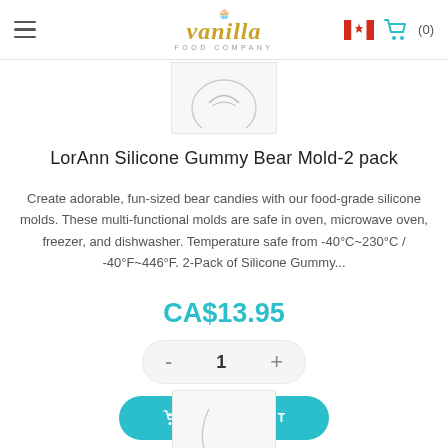Vanilla Food Company header with hamburger menu, logo, Canadian flag, and cart (0)
[Figure (photo): Partial product image of LorAnn Silicone Gummy Bear Mold with circular logo visible]
LorAnn Silicone Gummy Bear Mold-2 pack
Create adorable, fun-sized bear candies with our food-grade silicone molds. These multi-functional molds are safe in oven, microwave oven, freezer, and dishwasher. Temperature safe from -40°C~230°C / -40°F~446°F. 2-Pack of Silicone Gummy...
CA$13.95
[Figure (infographic): Quantity selector control showing minus button, 1, plus button in rounded pill shape]
[Figure (infographic): ADD TO CART button in teal/cyan rounded pill shape with basket icon]
[Figure (photo): Partial product image at bottom of page]